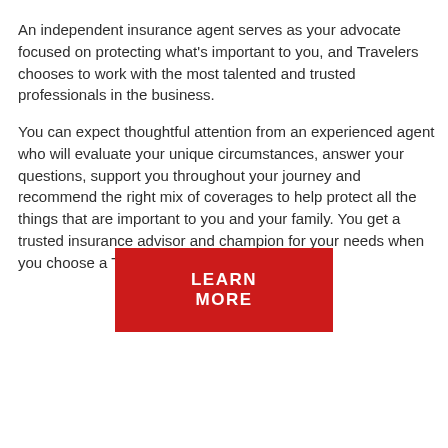An independent insurance agent serves as your advocate focused on protecting what's important to you, and Travelers chooses to work with the most talented and trusted professionals in the business.
You can expect thoughtful attention from an experienced agent who will evaluate your unique circumstances, answer your questions, support you throughout your journey and recommend the right mix of coverages to help protect all the things that are important to you and your family. You get a trusted insurance advisor and champion for your needs when you choose a Travelers independent agent.
[Figure (other): Red rectangular button with white bold uppercase text reading LEARN MORE]